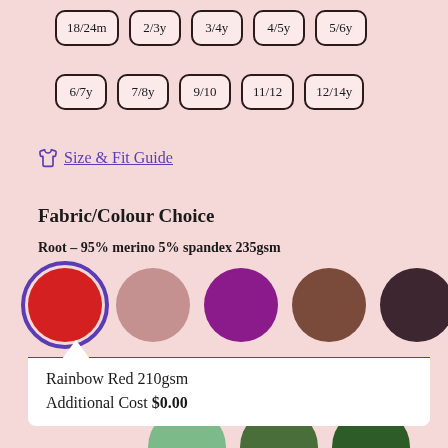18/24m
2/3y
3/4y
4/5y
5/6y
6/7y
7/8y
9/10
11/12
12/14y
Size & Fit Guide
Fabric/Colour Choice
Root - 95% merino 5% spandex 235gsm
[Figure (infographic): Five color swatches in circles: red (selected), dusty pink, purple, brown, dark brown]
Rainbow Red 210gsm
Additional Cost $0.00
[Figure (infographic): Three partially visible color circles at bottom: light green, dark olive green, dark green]